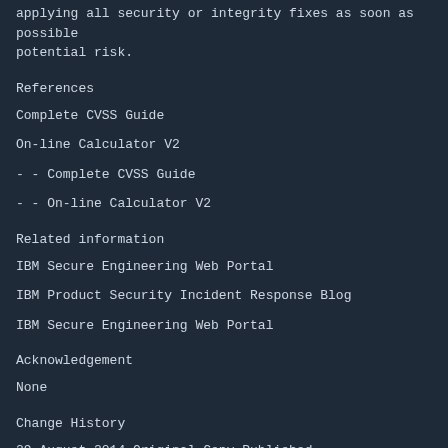applying all security or integrity fixes as soon as possible potential risk.
References
Complete CVSS Guide
On-line Calculator V2
- - Complete CVSS Guide
- - On-line Calculator V2
Related information
IBM Secure Engineering Web Portal
IBM Product Security Incident Response Blog
IBM Secure Engineering Web Portal
Acknowledgement
None
Change History
29 August 2014 Original Copy Published